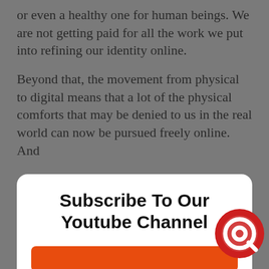or even a healthy one for human beings. We are not getting paid for all the work we put into refining our identity online.
Beyond that, the movement from physical to digital means that a lot of the physical comforts that may be denied to us in the real world can now be pursued freely online. And
Subscribe To Our Youtube Channel
[Figure (other): Orange subscribe button rectangle]
We use cookies to analyze site traffic. By continuing to visit this website you agree to our use of cookies.
GOT IT
More info
TARTLE belie... where everyone ca... o empower themselves th... ave t... power to cre... for y... efforts, and w... use it for
[Figure (logo): TARTLE circular logo with red background and white Q-like icon]